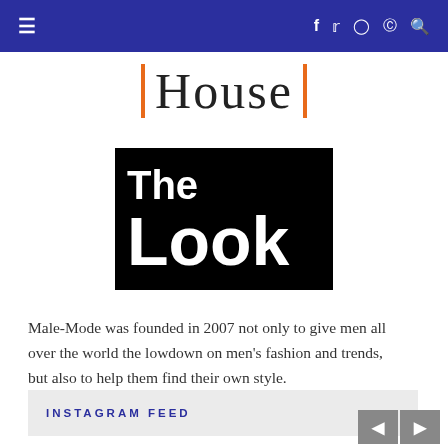≡  f  𝕏  ○  ⊕  🔍
House
[Figure (logo): The Look logo — white bold text 'The' and 'Look' on a black background]
Male-Mode was founded in 2007 not only to give men all over the world the lowdown on men's fashion and trends, but also to help them find their own style.
INSTAGRAM FEED